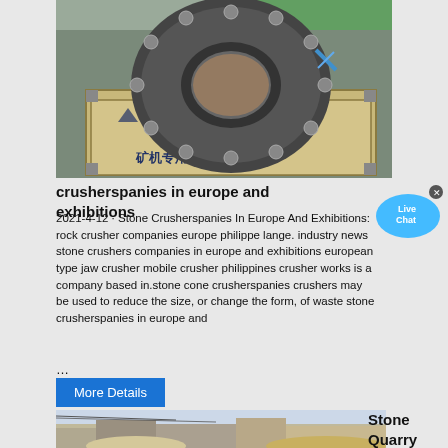[Figure (photo): A large industrial spherical roller bearing in a wooden crate labeled with Chinese characters (矿机专用), sitting on a warehouse floor.]
crusherspanies in europe and exhibitions
2021-4-12 · Stone Crusherspanies In Europe And Exhibitions: rock crusher companies europe philippe lange. industry news stone crushers companies in europe and exhibitions european type jaw crusher mobile crusher philippines crusher works is a company based in.stone cone crusherspanies crushers may be used to reduce the size, or change the form, of waste stone crusherspanies in europe and
...
More Details
[Figure (photo): A photo of a stone quarry crusher site with buildings and stone piles.]
Stone Quarry Crusher